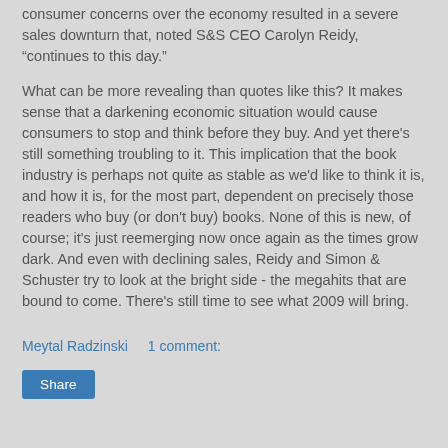consumer concerns over the economy resulted in a severe sales downturn that, noted S&S CEO Carolyn Reidy, “continues to this day.”
What can be more revealing than quotes like this? It makes sense that a darkening economic situation would cause consumers to stop and think before they buy. And yet there's still something troubling to it. This implication that the book industry is perhaps not quite as stable as we'd like to think it is, and how it is, for the most part, dependent on precisely those readers who buy (or don't buy) books. None of this is new, of course; it's just reemerging now once again as the times grow dark. And even with declining sales, Reidy and Simon & Schuster try to look at the bright side - the megahits that are bound to come. There's still time to see what 2009 will bring.
Meytal Radzinski    1 comment:
Share